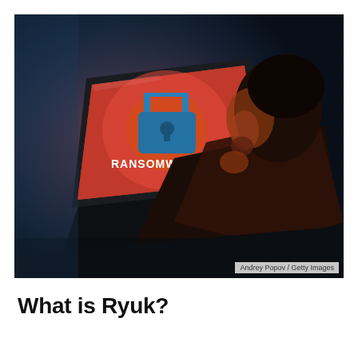[Figure (photo): A person viewed from behind and above, looking at a laptop screen displaying a red ransomware warning screen with a padlock icon and the word 'RANSOMWARE'. The scene is dark and lit with blue ambient light and red/orange light from the screen.]
Andrey Popov / Getty Images
What is Ryuk?